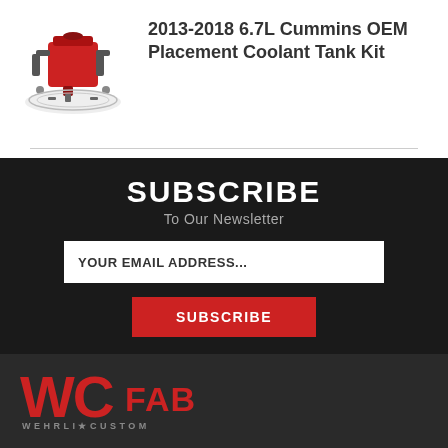[Figure (photo): Product photo of 2013-2018 6.7L Cummins OEM Placement Coolant Tank Kit showing red coolant tank with hardware components]
2013-2018 6.7L Cummins OEM Placement Coolant Tank Kit
SUBSCRIBE
To Our Newsletter
YOUR EMAIL ADDRESS...
SUBSCRIBE
[Figure (logo): WCFab Wehrli Custom Fabrication logo — large red WC letters with FAB text and WEHRLI+CUSTOM text below]